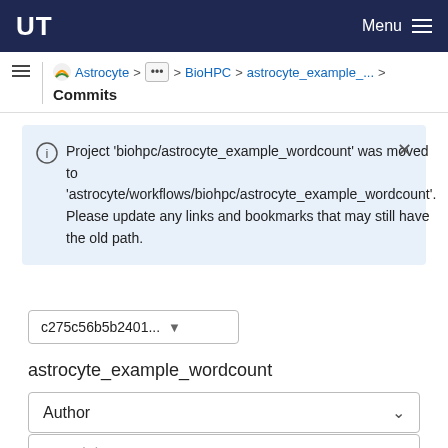UT  Menu
≡  Astrocyte > ⋯ > BioHPC > astrocyte_example_... >  Commits
ⓘ Project 'biohpc/astrocyte_example_wordcount' was moved to 'astrocyte/workflows/biohpc/astrocyte_example_wordcount'. Please update any links and bookmarks that may still have the old path.
c275c56b5b2401...  ▾
astrocyte_example_wordcount
Author
Search by message
15 Jun, 2021 2 commits